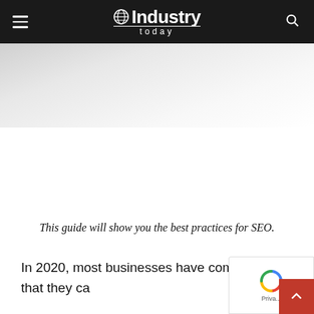Industry Today
[Figure (photo): Article header image area with light gray gradient background]
This guide will show you the best practices for SEO.
In 2020, most businesses have come to the realization that the internet is a very powerful tool that they ca...